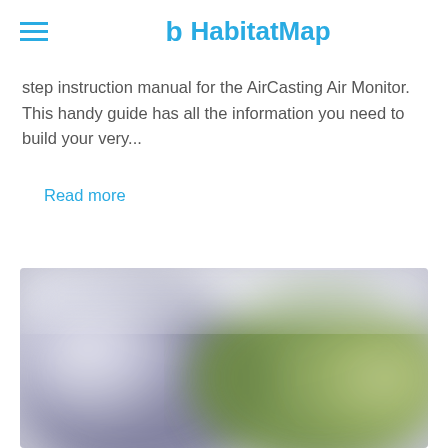HabitatMap
step instruction manual for the AirCasting Air Monitor. This handy guide has all the information you need to build your very...
Read more
[Figure (photo): A blurred outdoor photograph showing blurred colors of white, blue-grey/purple, and green/yellow-green tones.]